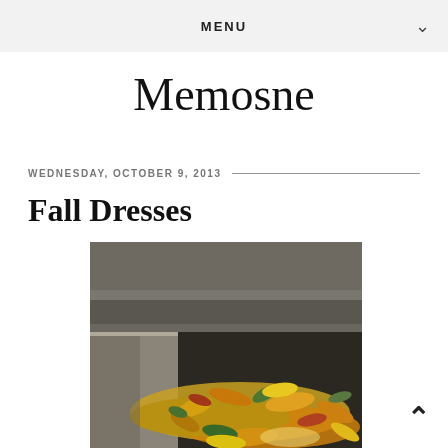MENU
Memosne
WEDNESDAY, OCTOBER 9, 2013
Fall Dresses
[Figure (photo): Outdoor photo of autumn fallen leaves — yellow, orange, red and green — scattered along a concrete curb/gutter with stone steps in the background, soft bokeh background.]